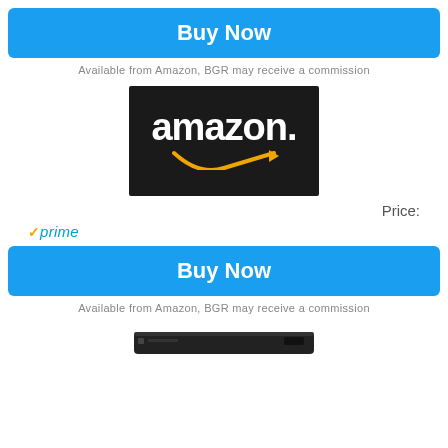Buy Now
Available from Amazon, BGR may receive a commission
[Figure (logo): Amazon logo: white 'amazon.' text with orange smile arrow beneath on dark background]
Price:
[Figure (logo): Amazon Prime badge: orange checkmark followed by 'prime' in blue italic text]
Buy Now
Available from Amazon, BGR may receive a commission
[Figure (photo): Product photo: slim black Blu-ray or media player device, partially visible at bottom of page]